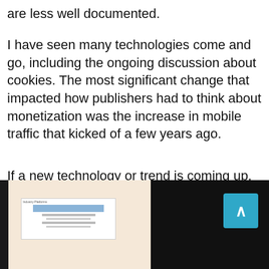are less well documented.
I have seen many technologies come and go, including the ongoing discussion about cookies. The most significant change that impacted how publishers had to think about monetization was the increase in mobile traffic that kicked of a few years ago.
If a new technology or trend is coming up, we are eager to test it out. Mostly, we share our learnings in an article. They also help start a discussion with users to see whether and how they want to use it.
[Figure (photo): A screenshot of a webpage or app interface displayed on a screen, partially visible on the left side, with a dark background on the right side and a teal/blue scroll-to-top button.]